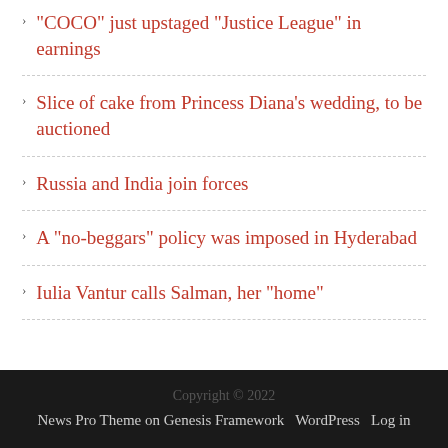“COCO” just upstaged “Justice League” in earnings
Slice of cake from Princess Diana’s wedding, to be auctioned
Russia and India join forces
A “no-beggars” policy was imposed in Hyderabad
Iulia Vantur calls Salman, her “home”
Copyright © 2022 · News Pro Theme on Genesis Framework · WordPress · Log in